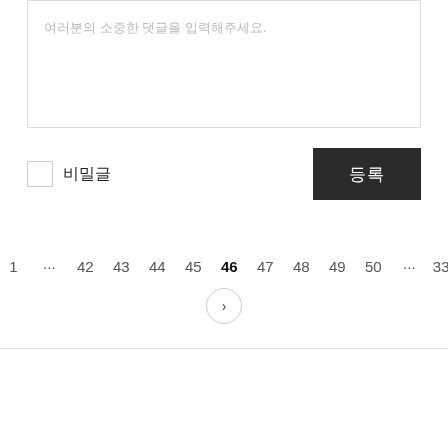여러분의 소중한 댓글을 입력해주세요.
비밀글
등록
‹  1  …  42  43  44  45  46  47  48  49  50  …  331  ›
TEL. 02.1234.5678 / 경기 성남시 분당구 판교역로
© Kakao Corp.